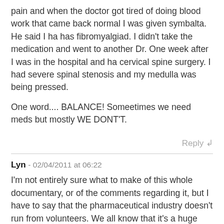pain and when the doctor got tired of doing blood work that came back normal I was given symbalta. He said I ha has fibromyalgiad. I didn't take the medication and went to another Dr. One week after I was in the hospital and ha cervical spine surgery. I had severe spinal stenosis and my medulla was being pressed.
One word.... BALANCE! Someetimes we need meds but mostly WE DONT'T.
Reply ↲
Lyn - 02/04/2011 at 06:22
I'm not entirely sure what to make of this whole documentary, or of the comments regarding it, but I have to say that the pharmaceutical industry doesn't run from volunteers. We all know that it's a huge industry, and it generates more money than any of us would know what to do with...
Regardless of which Joe Blow funded this documentary,